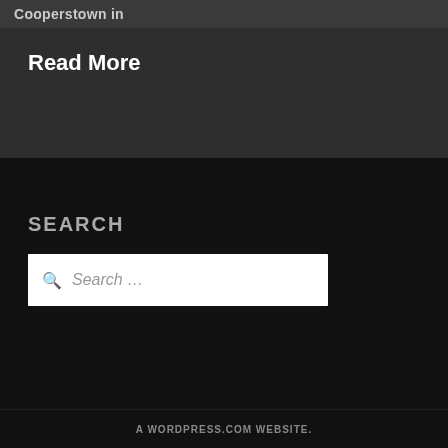Cooperstown in
Read More
SEARCH
Search …
A WORDPRESS.COM WEBSITE.